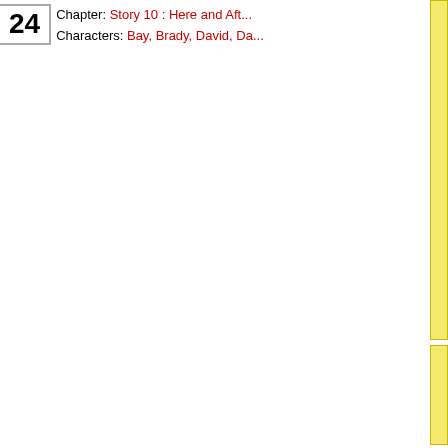Chapter: Story 10 : Here and Aft... Characters: Bay, Brady, David, Da...
Whoa, Dawn looks great in purple blu...
Tags: Bay, Brady, David, Dawn, Heather,